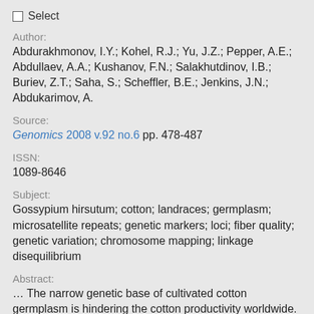☐ Select
Author:
Abdurakhmonov, I.Y.; Kohel, R.J.; Yu, J.Z.; Pepper, A.E.; Abdullaev, A.A.; Kushanov, F.N.; Salakhutdinov, I.B.; Buriev, Z.T.; Saha, S.; Scheffler, B.E.; Jenkins, J.N.; Abdukarimov, A.
Source:
Genomics 2008 v.92 no.6 pp. 478-487
ISSN:
1089-8646
Subject:
Gossypium hirsutum; cotton; landraces; germplasm; microsatellite repeats; genetic markers; loci; fiber quality; genetic variation; chromosome mapping; linkage disequilibrium
Abstract:
… The narrow genetic base of cultivated cotton germplasm is hindering the cotton productivity worldwide. Although potential genetic diversity exists in Gossypium genus, it is largely underutilized due to photoperiodism and the lack…